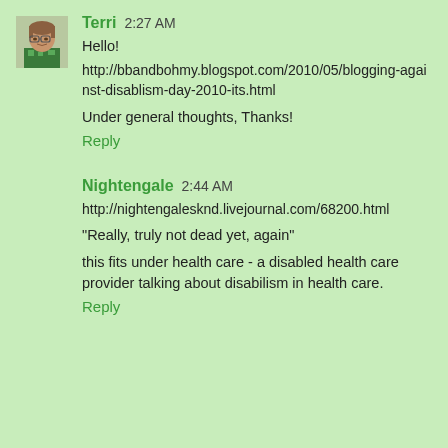[Figure (photo): Small avatar photo of a woman with glasses wearing a green patterned top]
Terri  2:27 AM
Hello!
http://bbandbohmy.blogspot.com/2010/05/blogging-against-disablism-day-2010-its.html
Under general thoughts, Thanks!
Reply
Nightengale  2:44 AM
http://nightengalesknd.livejournal.com/68200.html
"Really, truly not dead yet, again"
this fits under health care - a disabled health care provider talking about disabilism in health care.
Reply